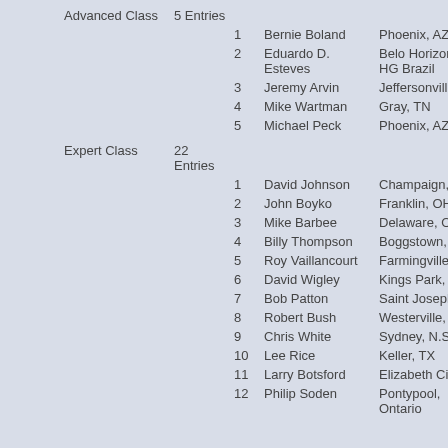| Class | Count | Rank | Name | City | Code |
| --- | --- | --- | --- | --- | --- |
| Advanced Class | 5 Entries | 1 | Bernie Boland | Phoenix, AZ | Al... |
|  |  | 2 | Eduardo D. Esteves | Belo Horizonte, HG Brazil | Fa... |
|  |  | 3 | Jeremy Arvin | Jeffersonville, IN | B-... |
|  |  | 4 | Mike Wartman | Gray, TN | Fo... Ein... |
|  |  | 5 | Michael Peck | Phoenix, AZ | P-... |
| Expert Class | 22 Entries | 1 | David Johnson | Champaign, IL | Al... |
|  |  | 2 | John Boyko | Franklin, OH | Pit... |
|  |  | 3 | Mike Barbee | Delaware, OH | Ra... Be... |
|  |  | 4 | Billy Thompson | Boggstown, IN | 19... |
|  |  | 5 | Roy Vaillancourt | Farmingville, NY | Ty... |
|  |  | 6 | David Wigley | Kings Park, NY | We... |
|  |  | 7 | Bob Patton | Saint Joseph, IL | Sc... Bu... |
|  |  | 8 | Robert Bush | Westerville, OH | F-1... |
|  |  | 9 | Chris White | Sydney, N.S.W | Co... |
|  |  | 10 | Lee Rice | Keller, TX | F-4... |
|  |  | 11 | Larry Botsford | Elizabeth City, NC | Lu... |
|  |  | 12 | Philip Soden | Pontypool, Ontario | Dr... |